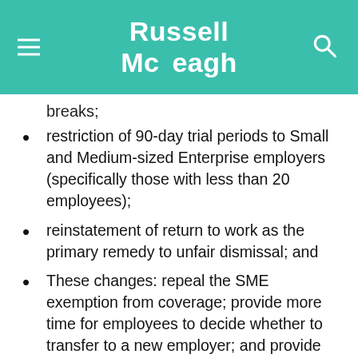Russell McVeagh
breaks;
restriction of 90-day trial periods to Small and Medium-sized Enterprise employers (specifically those with less than 20 employees);
reinstatement of return to work as the primary remedy to unfair dismissal; and
These changes: repeal the SME exemption from coverage; provide more time for employees to decide whether to transfer to a new employer; and provide greater safeguards on transfer of inaccurate information.